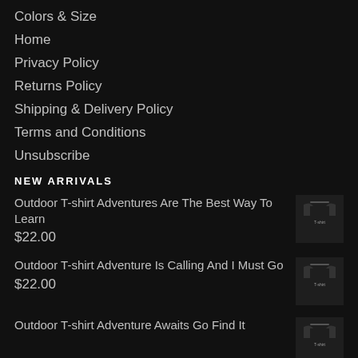Colors & Size
Home
Privacy Policy
Returns Policy
Shipping & Delivery Policy
Terms and Conditions
Unsubscribe
NEW ARRIVALS
Outdoor T-shirt Adventures Are The Best Way To Learn
$22.00
[Figure (photo): Black t-shirt product thumbnail]
Outdoor T-shirt Adventure Is Calling And I Must Go
$22.00
[Figure (photo): Black t-shirt product thumbnail]
Outdoor T-shirt Adventure Awaits Go Find It
[Figure (photo): Black t-shirt product thumbnail]